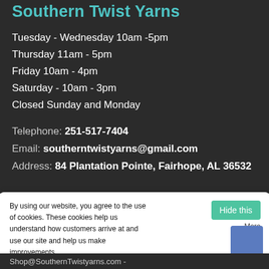Southern Twist Yarns
Tuesday - Wednesday 10am -5pm
Thursday 11am - 5pm
Friday 10am - 4pm
Saturday - 10am - 3pm
Closed Sunday and Monday
Telephone: 251-517-7404
Email: southerntwistyarns@gmail.com
Address: 84 Plantation Pointe, Fairhope, AL 36532
By using our website, you agree to the use of cookies. These cookies help us understand how customers arrive at and use our site and help us make improvements.
Shop@SouthernTwistyarns.com -